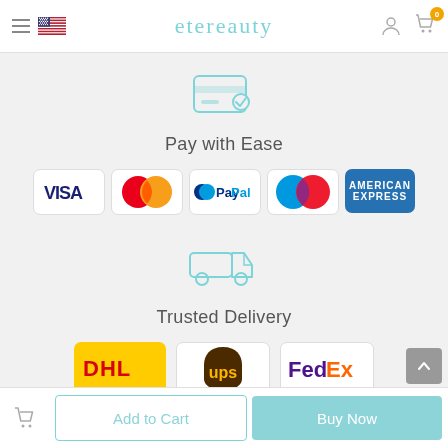etereauty
[Figure (illustration): Credit card icon with teal checkmark indicating payment]
Pay with Ease
[Figure (logo): VISA logo]
[Figure (logo): MasterCard logo]
[Figure (logo): PayPal logo]
[Figure (logo): Maestro logo]
[Figure (logo): American Express logo]
[Figure (illustration): Delivery truck icon in teal]
Trusted Delivery
[Figure (logo): DHL logo on yellow background]
[Figure (logo): UPS logo]
[Figure (logo): FedEx logo]
Add to Cart
Buy Now